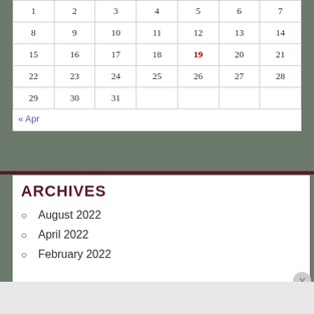| 1 | 2 | 3 | 4 | 5 | 6 | 7 |
| 8 | 9 | 10 | 11 | 12 | 13 | 14 |
| 15 | 16 | 17 | 18 | 19 | 20 | 21 |
| 22 | 23 | 24 | 25 | 26 | 27 | 28 |
| 29 | 30 | 31 |  |  |  |  |
« Apr
ARCHIVES
August 2022
April 2022
February 2022
Advertisements
[Figure (other): DuckDuckGo advertisement banner: Search, browse, and email with more privacy. All in One Free App]